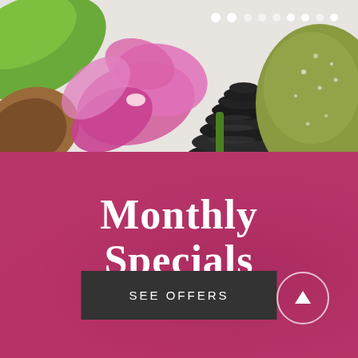[Figure (photo): Spa themed photo with pink orchid flowers, stacked black stones/pebbles, a large green/olive stone, green leaf, and white navigation dots overlaid at top center]
Monthly Specials
SEE OFFERS